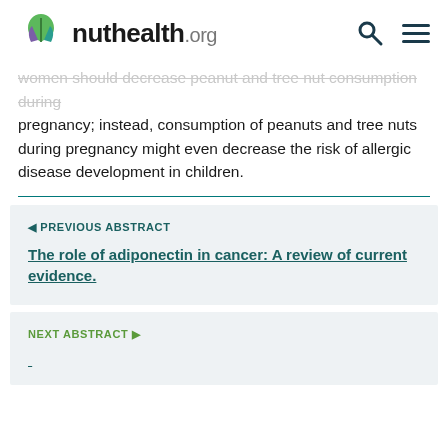nuthealth.org
women should decrease peanut and tree nut consumption during pregnancy; instead, consumption of peanuts and tree nuts during pregnancy might even decrease the risk of allergic disease development in children.
◄ PREVIOUS ABSTRACT
The role of adiponectin in cancer: A review of current evidence.
NEXT ABSTRACT ►